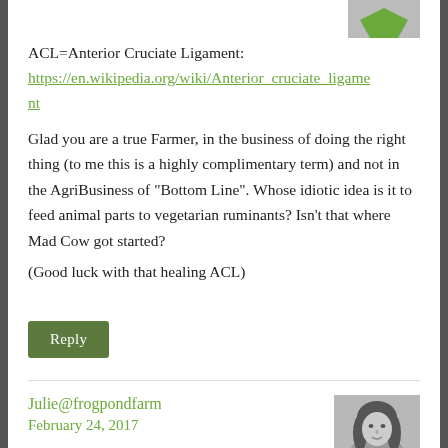ACL=Anterior Cruciate Ligament:
https://en.wikipedia.org/wiki/Anterior_cruciate_ligament
Glad you are a true Farmer, in the business of doing the right thing (to me this is a highly complimentary term) and not in the AgriBusiness of "Bottom Line". Whose idiotic idea is it to feed animal parts to vegetarian ruminants? Isn't that where Mad Cow got started?
(Good luck with that healing ACL)
Reply
Julie@frogpondfarm
February 24, 2017
[Figure (photo): Grayscale avatar photo of a woman with dark hair]
Poor Boo they don't understand either.
Dan has a hip problem which often makes him limp